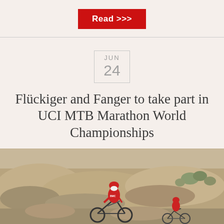Read >>>
Flückiger and Fanger to take part in UCI MTB Marathon World Championships
[Figure (photo): Two mountain bike cyclists in red and black BMC team jerseys riding on a rocky desert trail with sparse desert scrub vegetation in the background.]